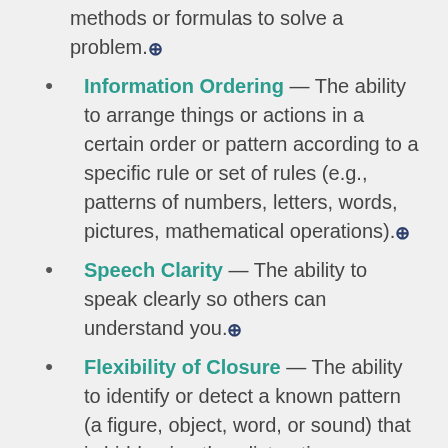methods or formulas to solve a problem.
Information Ordering — The ability to arrange things or actions in a certain order or pattern according to a specific rule or set of rules (e.g., patterns of numbers, letters, words, pictures, mathematical operations).
Speech Clarity — The ability to speak clearly so others can understand you.
Flexibility of Closure — The ability to identify or detect a known pattern (a figure, object, word, or sound) that is hidden in other distracting material.